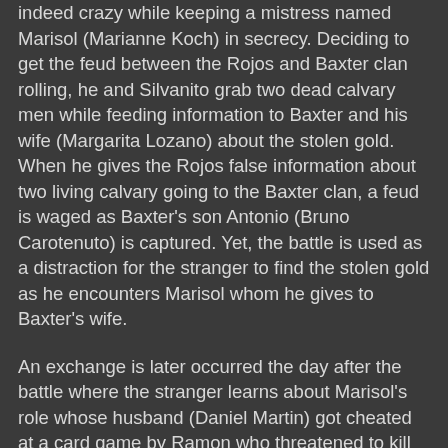indeed crazy while keeping a mistress named Marisol (Marianne Koch) in secrecy. Deciding to get the feud between the Rojos and Baxter clan rolling, he and Silvanito grab two dead calvary men while feeding information to Baxter and his wife (Margarita Lozano) about the stolen gold. When he gives the Rojos false information about two living calvary going to the Baxter clan, a feud is waged as Baxter's son Antonio (Bruno Carotenuto) is captured. Yet, the battle is used as a distraction for the stranger to find the stolen gold as he encounters Marisol whom he gives to Baxter's wife.
An exchange is later occurred the day after the battle where the stranger learns about Marisol's role whose husband (Daniel Martin) got cheated at a card game by Ramon who threatened to kill their son Jesus if he could have Marisol. After Marisol's return to the Rojos' ranch, the stranger decides to free her by killing six of the Rojos men and making her, Julian, and their son leave to reach the border. Yet, after their departure, Ramon learns of the stranger's role in the game as he is immediately beaten for information. After barely escaping with help from the town's coffin maker Piripero (Joseph Egger), the war is over as the Rojos have